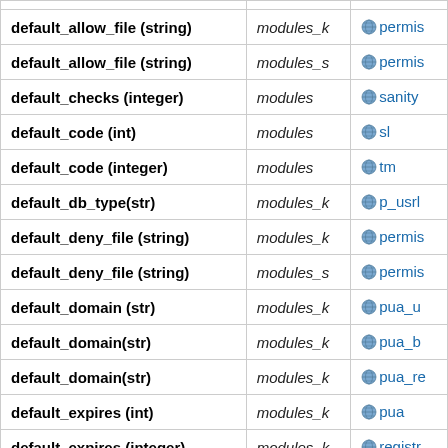| Parameter (type) | Module | Applies to |
| --- | --- | --- |
| default_allow_file (string) | modules_k | permis... |
| default_allow_file (string) | modules_s | permis... |
| default_checks (integer) | modules | sanity... |
| default_code (int) | modules | sl... |
| default_code (integer) | modules | tm... |
| default_db_type(str) | modules_k | p_usrl... |
| default_deny_file (string) | modules_k | permis... |
| default_deny_file (string) | modules_s | permis... |
| default_domain (str) | modules_k | pua_u... |
| default_domain(str) | modules_k | pua_b... |
| default_domain(str) | modules_k | pua_re... |
| default_expires (int) | modules_k | pua... |
| default_expires (integer) | modules_k | registr... |